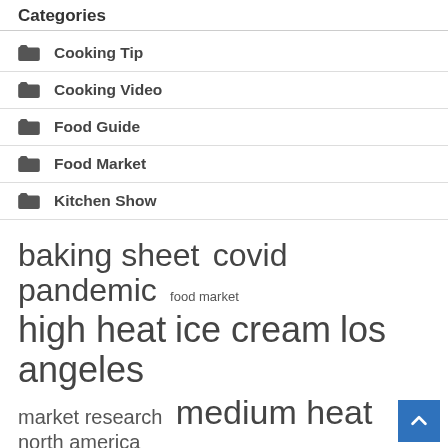Categories
Cooking Tip
Cooking Video
Food Guide
Food Market
Kitchen Show
baking sheet  covid pandemic  food market  high heat  ice cream  los angeles  market research  medium heat  north america  olive oil  plant based